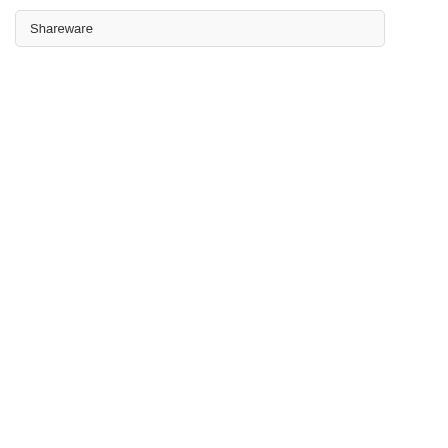Shareware
moisturize and smooth the skin.
583.0 KB |Sharewa
» details
» Lotions 1.
Body Lotion com make the skin so airborne bact
583.0 KB |Sharewa
» details
Last sharew
» OODogs 1
OODogs is an in use OODogs to is fast and easy.
3.16 MB |Windows
» details
» PhotoStor
PhotoStory is a using full formatt